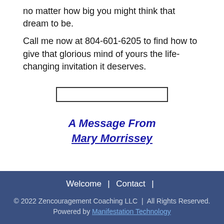no matter how big you might think that dream to be.
Call me now at 804-601-6205 to find how to give that glorious mind of yours the life-changing invitation it deserves.
[Figure (other): An empty text input box/field]
A Message From
Mary Morrissey
Welcome | Contact
© 2022 Zencouragement Coaching LLC | All Rights Reserved.
Powered by Manifestation Technology